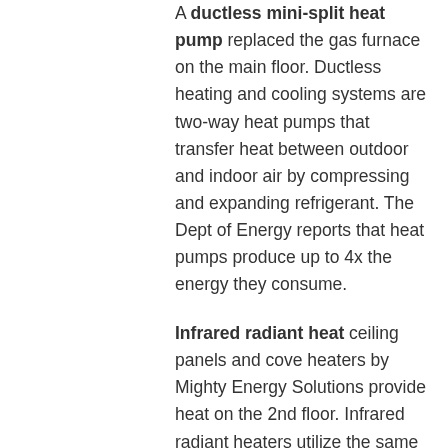A ductless mini-split heat pump replaced the gas furnace on the main floor. Ductless heating and cooling systems are two-way heat pumps that transfer heat between outdoor and indoor air by compressing and expanding refrigerant. The Dept of Energy reports that heat pumps produce up to 4x the energy they consume.
Infrared radiant heat ceiling panels and cove heaters by Mighty Energy Solutions provide heat on the 2nd floor. Infrared radiant heaters utilize the same physical properties that warm the